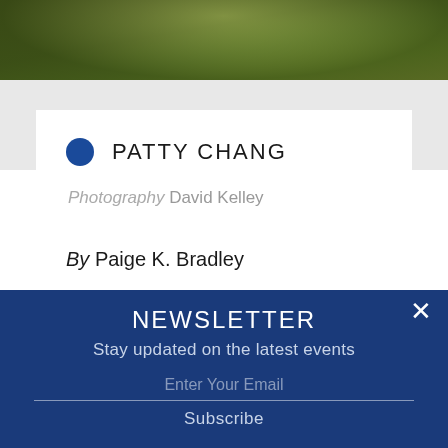[Figure (photo): Partial photo strip at top showing dark foliage and leaves with green/yellow tones]
PATTY CHANG
Photography David Kelley
By Paige K. Bradley
NEWSLETTER
Stay updated on the latest events
Enter Your Email
Subscribe